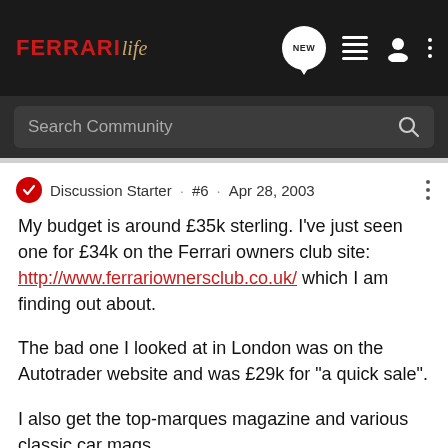FerrariLife — Navigation bar with logo, NEW, menu, profile, and more icons
Search Community
Discussion Starter · #6 · Apr 28, 2003
My budget is around £35k sterling. I've just seen one for £34k on the Ferrari owners club site: http://www.ferrariownersclub.co.uk/ which I am finding out about.

The bad one I looked at in London was on the Autotrader website and was £29k for "a quick sale".

I also get the top-marques magazine and various classic car mags.

As I mentioned in a previous post last week, I am looking for a blue one as in my opinion they look very nice and are different